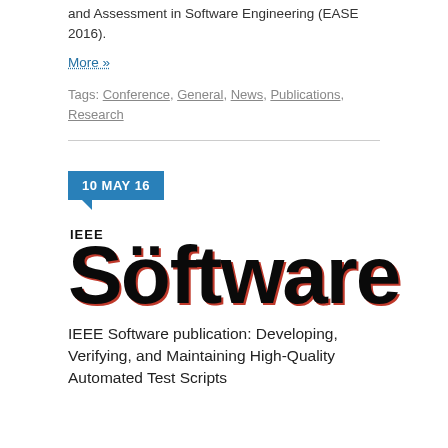and Assessment in Software Engineering (EASE 2016).
More »
Tags: Conference, General, News, Publications, Research
[Figure (logo): IEEE Software magazine logo with large bold 'Software' text and 'IEEE' above it]
IEEE Software publication: Developing, Verifying, and Maintaining High-Quality Automated Test Scripts